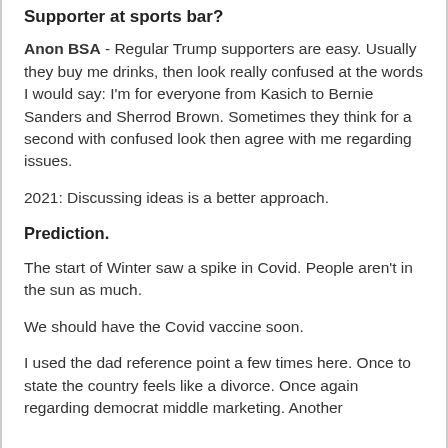Supporter at sports bar?
Anon BSA - Regular Trump supporters are easy. Usually they buy me drinks, then look really confused at the words I would say: I'm for everyone from Kasich to Bernie Sanders and Sherrod Brown. Sometimes they think for a second with confused look then agree with me regarding issues.
2021: Discussing ideas is a better approach.
Prediction.
The start of Winter saw a spike in Covid. People aren't in the sun as much.
We should have the Covid vaccine soon.
I used the dad reference point a few times here. Once to state the country feels like a divorce. Once again regarding democrat middle marketing. Another